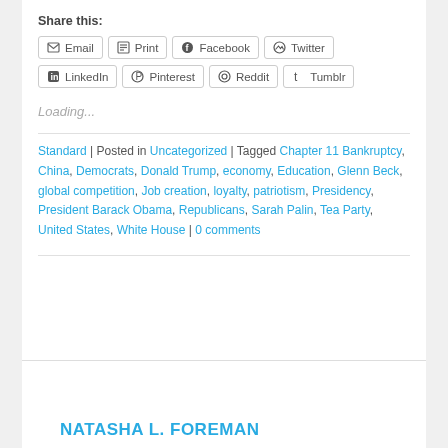Share this:
Email  Print  Facebook  Twitter  LinkedIn  Pinterest  Reddit  Tumblr
Loading...
Standard | Posted in Uncategorized | Tagged Chapter 11 Bankruptcy, China, Democrats, Donald Trump, economy, Education, Glenn Beck, global competition, Job creation, loyalty, patriotism, Presidency, President Barack Obama, Republicans, Sarah Palin, Tea Party, United States, White House | 0 comments
NATASHA L. FOREMAN